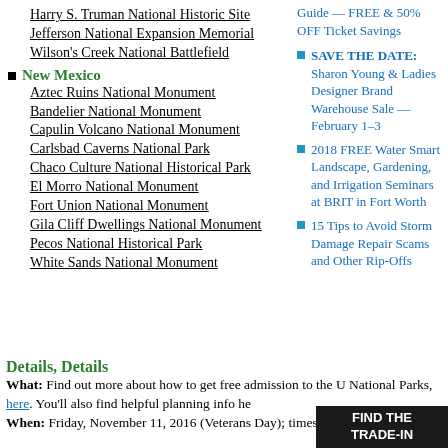Harry S. Truman National Historic Site
Jefferson National Expansion Memorial
Wilson's Creek National Battlefield
New Mexico
Aztec Ruins National Monument
Bandelier National Monument
Capulin Volcano National Monument
Carlsbad Caverns National Park
Chaco Culture National Historical Park
El Morro National Monument
Fort Union National Monument
Gila Cliff Dwellings National Monument
Pecos National Historical Park
White Sands National Monument
Guide — FREE & 50% OFF Ticket Savings
SAVE THE DATE: Sharon Young & Ladies Designer Brand Warehouse Sale — February 1–3
2018 FREE Water Smart Landscape, Gardening, and Irrigation Seminars at BRIT in Fort Worth
15 Tips to Avoid Storm Damage Repair Scams and Other Rip-Offs
Details, Details
What: Find out more about how to get free admission to the U National Parks, here. You'll also find helpful planning info he
When: Friday, November 11, 2016 (Veterans Day); times vary b